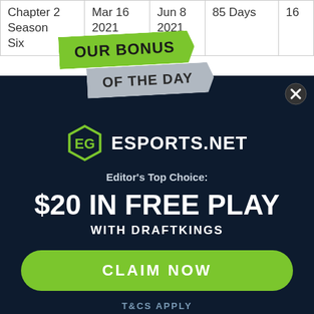| Chapter 2 Season Six | Mar 16 2021 | Jun 8 2021 | 85 Days | 16 |
[Figure (infographic): Bonus of the Day modal popup with green and gray ribbon banners saying 'OUR BONUS OF THE DAY', Esports.net logo, Editor's Top Choice: $20 IN FREE PLAY WITH DRAFTKINGS, green CLAIM NOW button, T&CS APPLY text, on dark navy background with an X close button]
Editor's Top Choice:
$20 IN FREE PLAY
WITH DRAFTKINGS
CLAIM NOW
T&CS APPLY